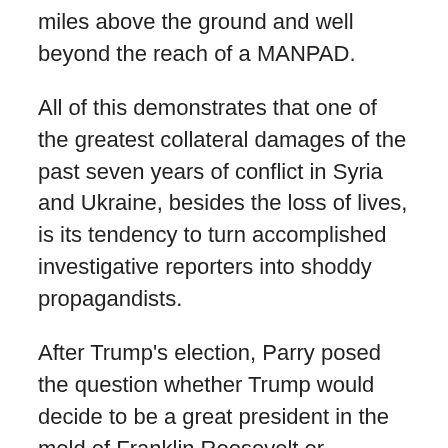miles above the ground and well beyond the reach of a MANPAD.
All of this demonstrates that one of the greatest collateral damages of the past seven years of conflict in Syria and Ukraine, besides the loss of lives, is its tendency to turn accomplished investigative reporters into shoddy propagandists.
After Trump's election, Parry posed the question whether Trump would decide to be a great president in the mold of Franklin Roosevelt or someone more of the caliber of Calvin Coolidge. I am not sure whether Parry's illness had some effect on his ability to clearly assess Donald Trump but it had already been established by then that Trump was a shameless liar who treated his workers like slaves. In 1980, he used undocumented Polish workers to clear